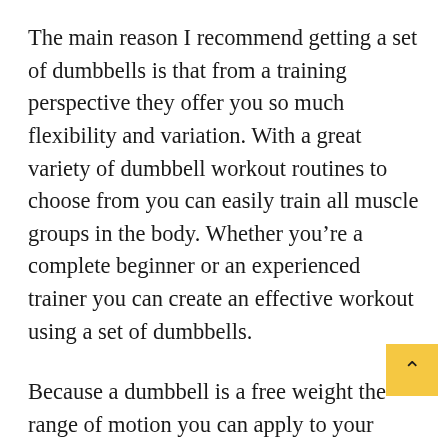The main reason I recommend getting a set of dumbbells is that from a training perspective they offer you so much flexibility and variation. With a great variety of dumbbell workout routines to choose from you can easily train all muscle groups in the body. Whether you're a complete beginner or an experienced trainer you can create an effective workout using a set of dumbbells.
Because a dumbbell is a free weight the range of motion you can apply to your exercises allows you to work your muscles far more effectively than say a weight machine. Also,